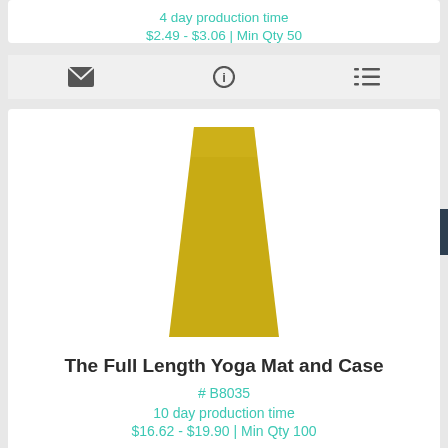4 day production time
$2.49 - $3.06 | Min Qty 50
[Figure (illustration): Yellow yoga mat rolled out, trapezoidal shape, yellow/gold color]
The Full Length Yoga Mat and Case
# B8035
10 day production time
$16.62 - $19.90 | Min Qty 100